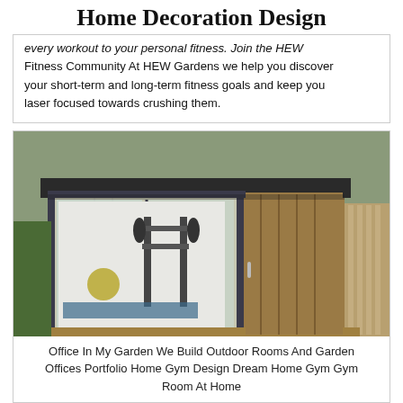Home Decoration Design
every workout to your personal fitness. Join the HEW Fitness Community At HEW Gardens we help you discover your short-term and long-term fitness goals and keep you laser focused towards crushing them.
[Figure (photo): Outdoor garden gym room with folding glass doors open, revealing gym equipment including barbells, weight rack, and exercise mat inside a wooden clad outbuilding with a flat roof.]
Office In My Garden We Build Outdoor Rooms And Garden Offices Portfolio Home Gym Design Dream Home Gym Gym Room At Home